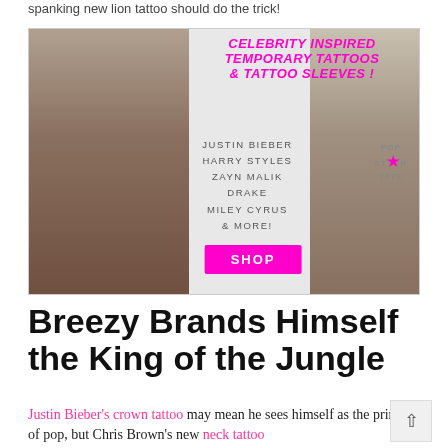spanking new lion tattoo should do the trick!
[Figure (advertisement): Celebrity Inspired Temporary Tattoos & Tattoo Sleeves advertisement for Pop Star Tats, featuring tattooed woman on left, man with tattoo sleeve on right, listing Justin Bieber, Harry Styles, Zayn Malik, Drake, Miley Cyrus & More!, with a pink SHOP button]
Breezy Brands Himself the King of the Jungle
Justin Bieber's crown tattoo may mean he sees himself as the prince of pop, but Chris Brown's new neck tattoo